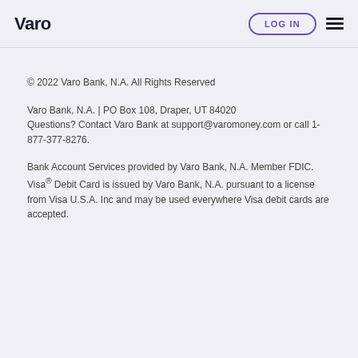Varo   LOG IN
© 2022 Varo Bank, N.A. All Rights Reserved
Varo Bank, N.A. | PO Box 108, Draper, UT 84020
Questions? Contact Varo Bank at support@varomoney.com or call 1-877-377-8276.
Bank Account Services provided by Varo Bank, N.A. Member FDIC. Visa® Debit Card is issued by Varo Bank, N.A. pursuant to a license from Visa U.S.A. Inc and may be used everywhere Visa debit cards are accepted.